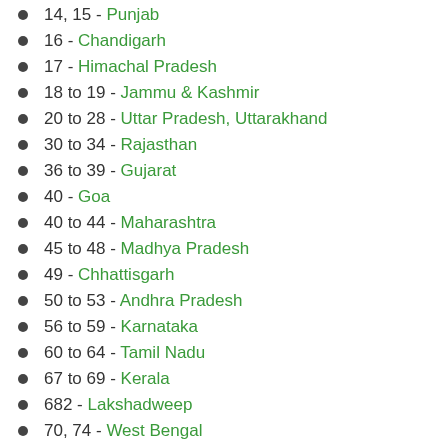14, 15 - Punjab
16 - Chandigarh
17 - Himachal Pradesh
18 to 19 - Jammu & Kashmir
20 to 28 - Uttar Pradesh, Uttarakhand
30 to 34 - Rajasthan
36 to 39 - Gujarat
40 - Goa
40 to 44 - Maharashtra
45 to 48 - Madhya Pradesh
49 - Chhattisgarh
50 to 53 - Andhra Pradesh
56 to 59 - Karnataka
60 to 64 - Tamil Nadu
67 to 69 - Kerala
682 - Lakshadweep
70, 74 - West Bengal
744 - Andaman & Nicobar
75, 77 - Odisha